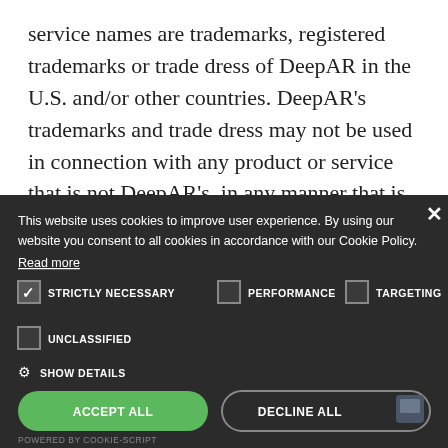service names are trademarks, registered trademarks or trade dress of DeepAR in the U.S. and/or other countries. DeepAR's trademarks and trade dress may not be used in connection with any product or service that is not DeepAR's, in any manner that is likely to cause confusion among customers, or in any manner that disparages or discredits DeepAR. All other
[Figure (screenshot): Cookie consent banner overlay with dark background. Contains cookie policy text with 'Read more' link, checkboxes for STRICTLY NECESSARY (checked), PERFORMANCE, TARGETING, and UNCLASSIFIED options, a SHOW DETAILS option with gear icon, and two buttons: ACCEPT ALL (green) and DECLINE ALL (outline). Powered by COOKIE-SCRIPT footer text.]